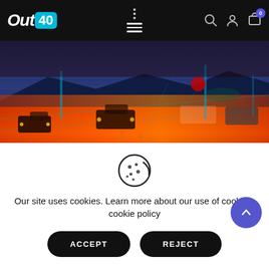[Figure (screenshot): Out40 website header/navbar with logo, hamburger menu, search, user, and cart icons]
[Figure (photo): Stylized artistic photo of urban street traffic with orange/red color grading — cars on a road, street lights, city backdrop]
EVENTS   STREET TALK
OUT40 Hosts 40 Fest...
Our site uses cookies. Learn more about our use of cookies: cookie policy
ACCEPT   REJECT